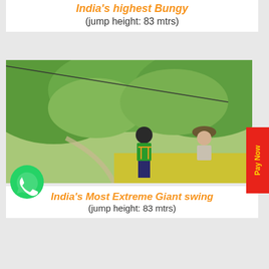India's highest Bungy
(jump height: 83 mtrs)
[Figure (photo): Two people on a platform over a valley, one in green shirt with harness preparing to bungee jump, another instructor guiding. Lush green hillside and a road visible below.]
India's Most Extreme Giant swing
(jump height: 83 mtrs)